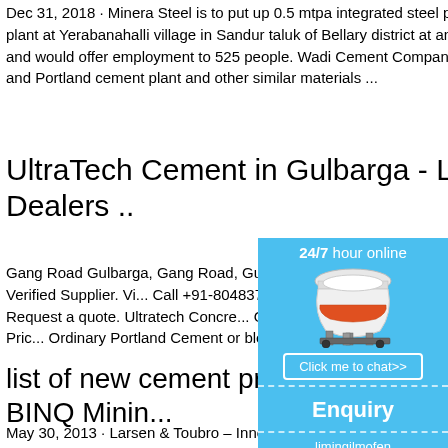Dec 31, 2018 · Minera Steel is to put up 0.5 mtpa integrated steel plant with a 35 MW captive power plant at Yerabanahalli village in Sandur taluk of Bellary district at an investment of Rs. 1,889.30 crore and would offer employment to 525 people. Wadi Cement Company is to construct a 2.5 MTPA clinker and Portland cement plant and other similar materials ...
UltraTech Cement in Gulbarga - Latest Price, Dealers ..
Gang Road Gulbarga, Gang Road, Gulbarga, Kalaburagi, Karnataka. Verified Supplier. Vi... Call +91-8048372446 Dial Ext 740 when co... Supplier Request a quote. Ultratech Concre... Quote. Ultratech Portland Cement Ask Pric... Ordinary Portland Cement or blended ceme...
list of new cement proje... gulbarga « BINQ Minin...
May 30, 2013 · Larsen & Toubro – Innovativ... – A – Global Cement. 15 Feb 2013 It has h...
[Figure (screenshot): Ad widget showing a cone crusher machine with '24/7 hour online' text, a 'Click me to chat>>' button, an 'Enquiry' section, and 'limingjlmofen' text at the bottom, on a blue background.]